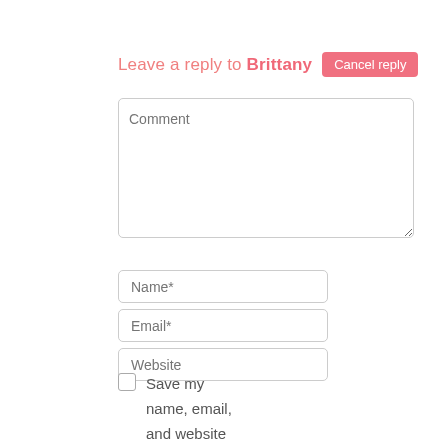Leave a reply to Brittany Cancel reply
Comment
Name*
Email*
Website
Save my name, email, and website in this browser for